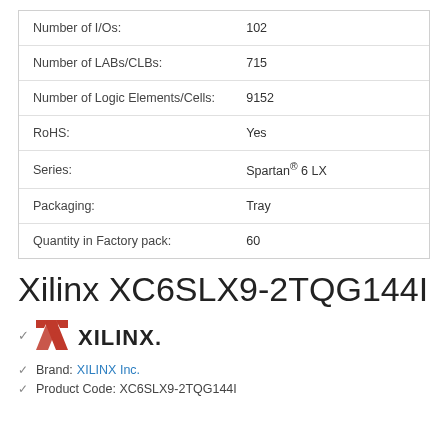| Property | Value |
| --- | --- |
| Number of I/Os: | 102 |
| Number of LABs/CLBs: | 715 |
| Number of Logic Elements/Cells: | 9152 |
| RoHS: | Yes |
| Series: | Spartan® 6 LX |
| Packaging: | Tray |
| Quantity in Factory pack: | 60 |
Xilinx XC6SLX9-2TQG144I
[Figure (logo): Xilinx company logo with red X emblem and XILINX. text]
Brand: XILINX Inc.
Product Code: XC6SLX9-2TQG144I